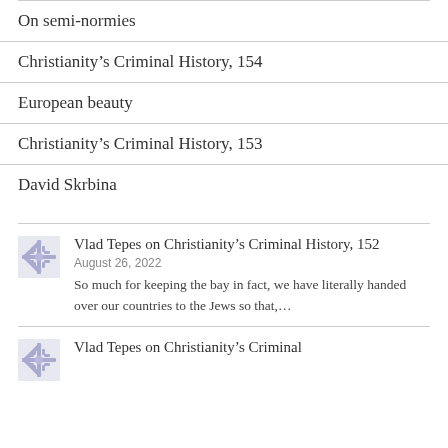On semi-normies
Christianity’s Criminal History, 154
European beauty
Christianity’s Criminal History, 153
David Skrbina
Vlad Tepes on Christianity’s Criminal History, 152
August 26, 2022
So much for keeping the bay in fact, we have literally handed over our countries to the Jews so that,…
Vlad Tepes on Christianity’s Criminal